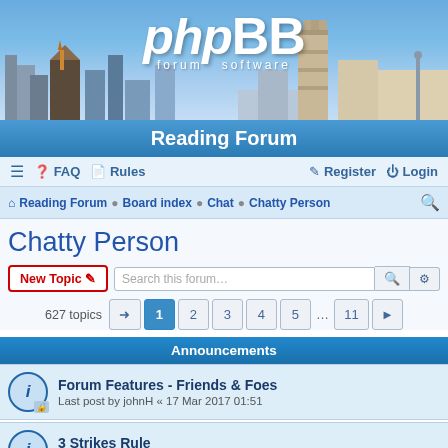[Figure (screenshot): phpBB forum software banner with city skyline background showing Reading Forum header]
Reading Forum
≡  FAQ  Rules  Register  Login
Reading Forum · Board index · Chat · Chatty Person
Chatty Person
New Topic  Search this forum…  627 topics  1 2 3 4 5 … 11
Announcements
Forum Features - Friends & Foes
Last post by johnH « 17 Mar 2017 01:51
3 Strikes Rule
Last post by johnH « 22 Mar 2016 09:45
Topics
Chat Thread